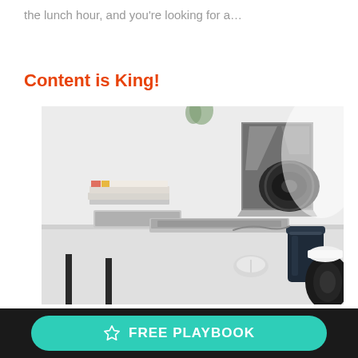the lunch hour, and you're looking for a...
Content is King!
[Figure (photo): A minimalist white desk with an open laptop, a stack of books, a tablet, a camera with lens, a travel coffee mug, and a mouse. Clean, bright office workspace.]
☆ FREE PLAYBOOK